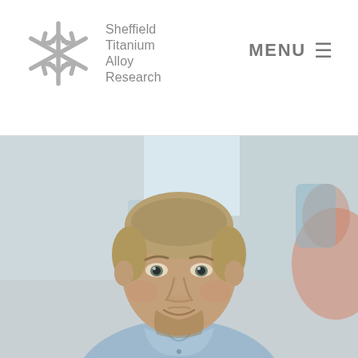Sheffield Titanium Alloy Research | MENU
[Figure (photo): Portrait photo of a young man with short blond hair and a beard, wearing a light blue polo shirt, smiling slightly, in a blurred laboratory/workshop background with light blue, white, and orange tones.]